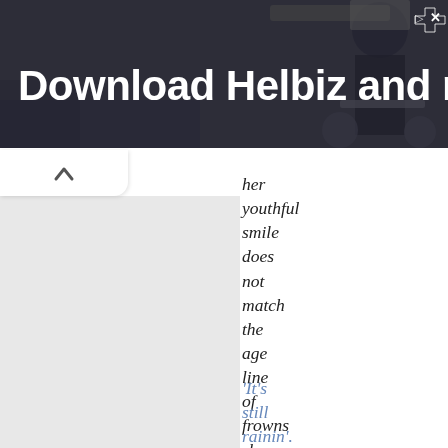[Figure (screenshot): Advertisement banner for Helbiz app showing a person with an e-scooter in a city setting, with text 'Download Helbiz and ride' in white bold font on a dark background. Close/X button in top right.]
her youthful smile does not match the age line of frowns she will have in fifteen years.
'It's still rainin'. I can't believe how wet it